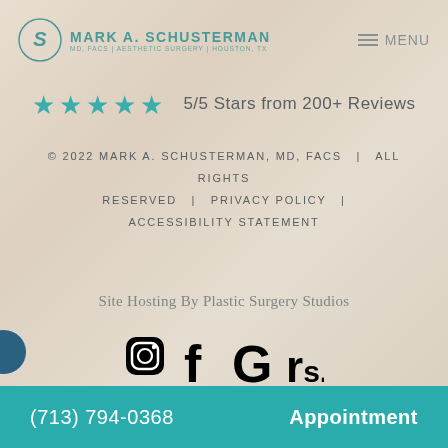[Figure (logo): Mark A. Schusterman MD FACS logo with circular S emblem and teal text]
MENU
★★★★★ 5/5 Stars from 200+ Reviews
© 2022 MARK A. SCHUSTERMAN, MD, FACS  |  ALL RIGHTS RESERVED  |  PRIVACY POLICY  |  ACCESSIBILITY STATEMENT
Site Hosting By Plastic Surgery Studios
[Figure (illustration): Social media icons: Instagram, Facebook, Google, RateMDs]
(713) 794-0368    Appointment